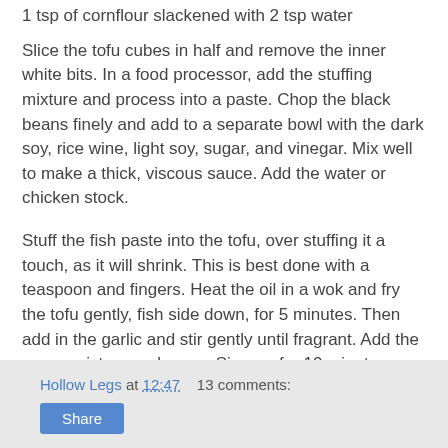1 tsp of cornflour slackened with 2 tsp water
Slice the tofu cubes in half and remove the inner white bits. In a food processor, add the stuffing mixture and process into a paste. Chop the black beans finely and add to a separate bowl with the dark soy, rice wine, light soy, sugar, and vinegar. Mix well to make a thick, viscous sauce. Add the water or chicken stock.
Stuff the fish paste into the tofu, over stuffing it a touch, as it will shrink. This is best done with a teaspoon and fingers. Heat the oil in a wok and fry the tofu gently, fish side down, for 5 minutes. Then add in the garlic and stir gently until fragrant. Add the sauce mixture and cover. Simmer for 10 minutes on a medium heat, stirring carefully, occasionally. Then add the cornflour mixture and simmer until thickened, finally garnishing with the spring onion. Serve with rice.
Hollow Legs at 12:47   13 comments: